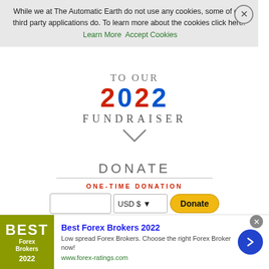While we at The Automatic Earth do not use any cookies, some of our third party applications do. To learn more about the cookies click here: Learn More   Accept Cookies
TO OUR 2022 FUNDRAISER
DONATE
ONE-TIME DONATION
RECURRING DONATION
CANCEL RECURRING DONATION
[Figure (other): Advertisement for Best Forex Brokers 2022 with logo, description text, and arrow button]